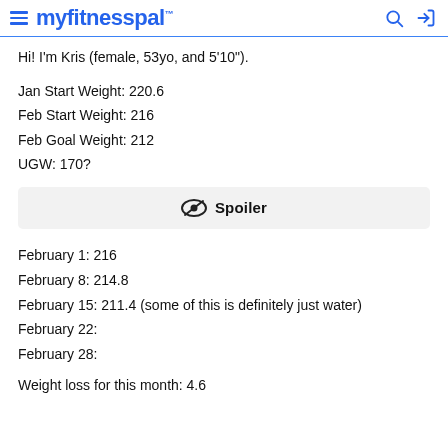myfitnesspal
Hi! I'm Kris (female, 53yo, and 5'10").
Jan Start Weight: 220.6
Feb Start Weight: 216
Feb Goal Weight: 212
UGW: 170?
[Figure (other): Spoiler toggle button with eye icon]
February 1: 216
February 8: 214.8
February 15: 211.4 (some of this is definitely just water)
February 22:
February 28:
Weight loss for this month: 4.6